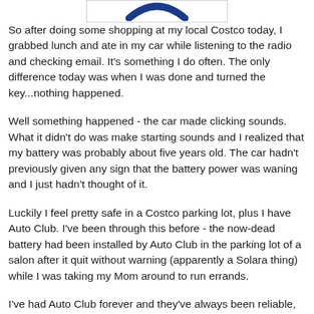[Figure (logo): Partial Costco logo (blue arc/swoosh) visible at top, cut off at top edge, inside a white box with light border]
So after doing some shopping at my local Costco today, I grabbed lunch and ate in my car while listening to the radio and checking email. It's something I do often. The only difference today was when I was done and turned the key...nothing happened.
Well something happened - the car made clicking sounds. What it didn't do was make starting sounds and I realized that my battery was probably about five years old. The car hadn't previously given any sign that the battery power was waning and I just hadn't thought of it.
Luckily I feel pretty safe in a Costco parking lot, plus I have Auto Club. I've been through this before - the now-dead battery had been installed by Auto Club in the parking lot of a salon after it quit without warning (apparently a Solara thing) while I was taking my Mom around to run errands.
I've had Auto Club forever and they've always been reliable, and the guys who come out to save the day are unfailingly nice. So thank you Auto Club and to Hilario, who arrived and